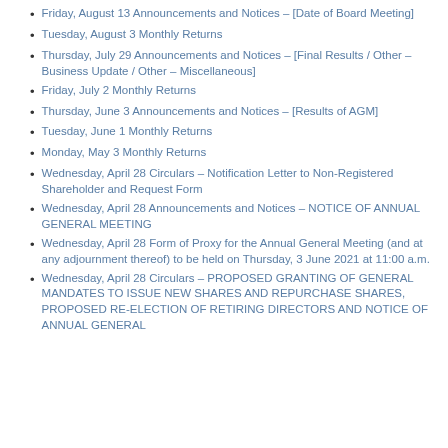Friday, August 13 Announcements and Notices – [Date of Board Meeting]
Tuesday, August 3 Monthly Returns
Thursday, July 29 Announcements and Notices – [Final Results / Other – Business Update / Other – Miscellaneous]
Friday, July 2 Monthly Returns
Thursday, June 3 Announcements and Notices – [Results of AGM]
Tuesday, June 1 Monthly Returns
Monday, May 3 Monthly Returns
Wednesday, April 28 Circulars – Notification Letter to Non-Registered Shareholder and Request Form
Wednesday, April 28 Announcements and Notices – NOTICE OF ANNUAL GENERAL MEETING
Wednesday, April 28 Form of Proxy for the Annual General Meeting (and at any adjournment thereof) to be held on Thursday, 3 June 2021 at 11:00 a.m.
Wednesday, April 28 Circulars – PROPOSED GRANTING OF GENERAL MANDATES TO ISSUE NEW SHARES AND REPURCHASE SHARES, PROPOSED RE-ELECTION OF RETIRING DIRECTORS AND NOTICE OF ANNUAL GENERAL